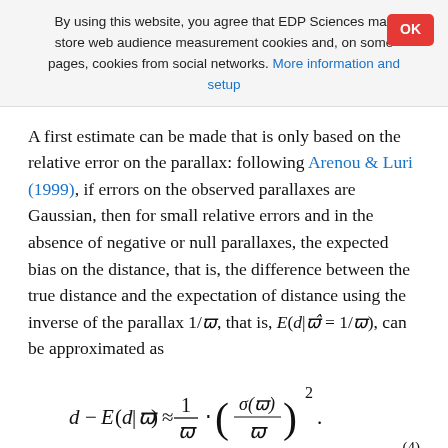By using this website, you agree that EDP Sciences may store web audience measurement cookies and, on some pages, cookies from social networks. More information and setup
A first estimate can be made that is only based on the relative error on the parallax: following Arenou & Luri (1999), if errors on the observed parallaxes are Gaussian, then for small relative errors and in the absence of negative or null parallaxes, the expected bias on the distance, that is, the difference between the true distance and the expectation of distance using the inverse of the parallax 1/ϖ, that is, E(d|ϖ̂ = 1/ϖ), can be approximated as